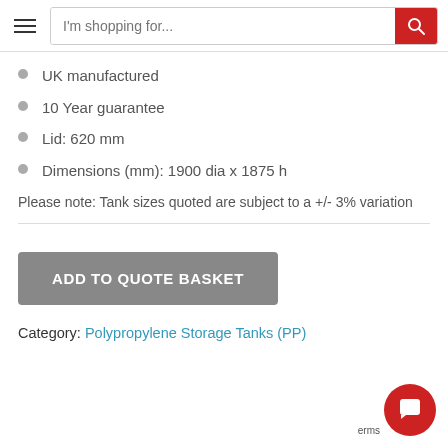I'm shopping for...
UK manufactured
10 Year guarantee
Lid: 620 mm
Dimensions (mm): 1900 dia x 1875 h
Please note: Tank sizes quoted are subject to a +/- 3% variation
ADD TO QUOTE BASKET
Category: Polypropylene Storage Tanks (PP)